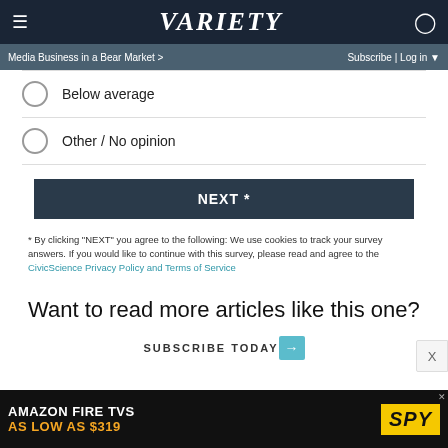Variety
Media Business in a Bear Market > | Subscribe | Log in
Below average
Other / No opinion
NEXT *
* By clicking "NEXT" you agree to the following: We use cookies to track your survey answers. If you would like to continue with this survey, please read and agree to the CivicScience Privacy Policy and Terms of Service
Want to read more articles like this one?
SUBSCRIBE TODAY →
[Figure (photo): Amazon Fire TVs advertisement banner: 'AMAZON FIRE TVS AS LOW AS $319' with SPY logo on black/yellow background]